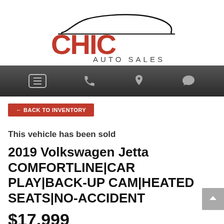[Figure (logo): Chic Auto Sales logo with stylized car silhouette above bold red CHIC lettering and AUTO SALES in dark gray below]
[Figure (other): Navigation bar with hamburger menu icon, phone icon, location pin icon, and chat bubble icon on dark gradient background]
← BACK TO INVENTORY
This vehicle has been sold
2019 Volkswagen Jetta COMFORTLINE|CAR PLAY|BACK-UP CAM|HEATED SEATS|NO-ACCIDENT
$17,999